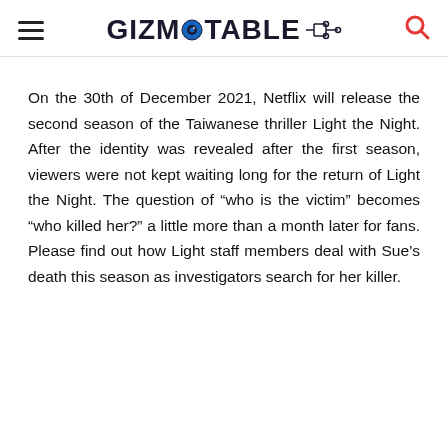GIZMOTABLE
On the 30th of December 2021, Netflix will release the second season of the Taiwanese thriller Light the Night. After the identity was revealed after the first season, viewers were not kept waiting long for the return of Light the Night. The question of “who is the victim” becomes “who killed her?” a little more than a month later for fans. Please find out how Light staff members deal with Sue’s death this season as investigators search for her killer.